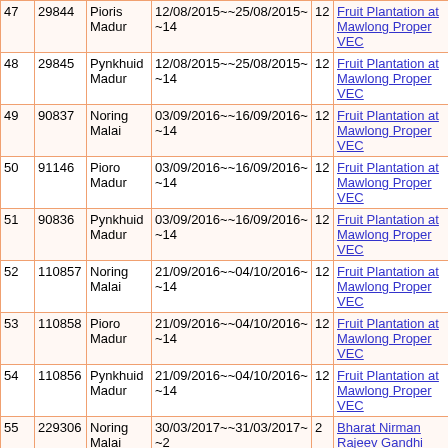| # | ID | Name | Dates | Days | Work |
| --- | --- | --- | --- | --- | --- |
| 47 | 29844 | Pioris Madur | 12/08/2015~~25/08/2015~~14 | 12 | Fruit Plantation at Mawlong Proper VEC |
| 48 | 29845 | Pynkhuid Madur | 12/08/2015~~25/08/2015~~14 | 12 | Fruit Plantation at Mawlong Proper VEC |
| 49 | 90837 | Noring Malai | 03/09/2016~~16/09/2016~~14 | 12 | Fruit Plantation at Mawlong Proper VEC |
| 50 | 91146 | Pioro Madur | 03/09/2016~~16/09/2016~~14 | 12 | Fruit Plantation at Mawlong Proper VEC |
| 51 | 90836 | Pynkhuid Madur | 03/09/2016~~16/09/2016~~14 | 12 | Fruit Plantation at Mawlong Proper VEC |
| 52 | 110857 | Noring Malai | 21/09/2016~~04/10/2016~~14 | 12 | Fruit Plantation at Mawlong Proper VEC |
| 53 | 110858 | Pioro Madur | 21/09/2016~~04/10/2016~~14 | 12 | Fruit Plantation at Mawlong Proper VEC |
| 54 | 110856 | Pynkhuid Madur | 21/09/2016~~04/10/2016~~14 | 12 | Fruit Plantation at Mawlong Proper VEC |
| 55 | 229306 | Noring Malai | 30/03/2017~~31/03/2017~~2 | 2 | Bharat Nirman Rajeev Gandhi Sewa Kendra MAWLONG |